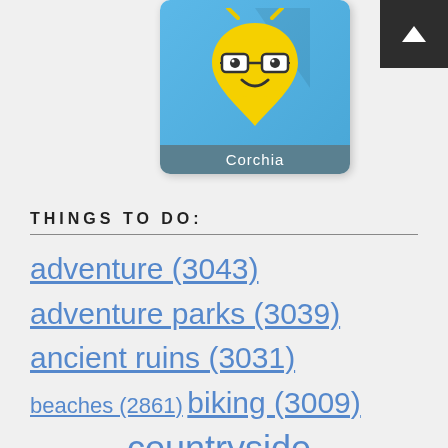[Figure (logo): App logo card showing a yellow smiley face with glasses location pin icon on a blue background, labeled 'Corchia' at the bottom]
THINGS TO DO:
adventure (3043)
adventure parks (3039)
ancient ruins (3031)
beaches (2861)  biking (3009)
caves (2796)  countryside (3037)  desert (3046)  events
farms (3055)